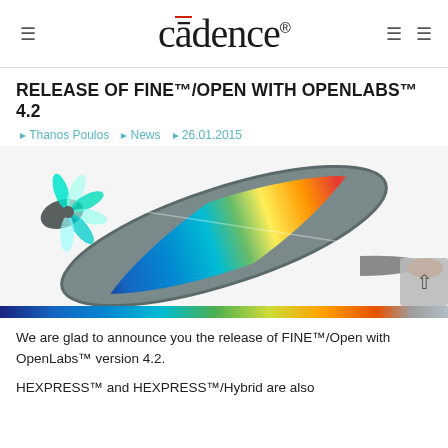Cadence (logo)
RELEASE OF FINE™/OPEN WITH OPENLABS™ 4.2
Thanos Poulos  News  26.01.2015
[Figure (photo): 3D rendering of a turbine or jet engine component showing internal flow simulation with a rainbow colormap (blue to red) overlaid on the geometry. A gradient colorbar runs along the bottom from dark blue through cyan, green, yellow, orange to grey.]
We are glad to announce you the release of FINE™/Open with OpenLabs™ version 4.2.
HEXPRESS™ and HEXPRESS™/Hybrid are also